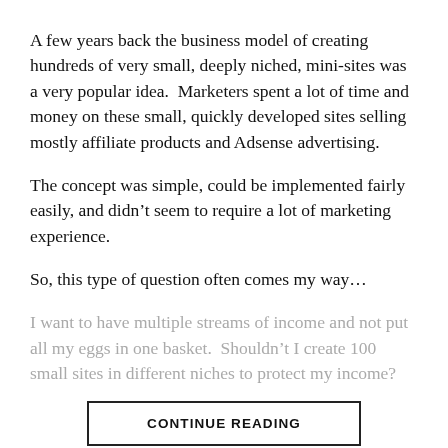A few years back the business model of creating hundreds of very small, deeply niched, mini-sites was a very popular idea.  Marketers spent a lot of time and money on these small, quickly developed sites selling mostly affiliate products and Adsense advertising.
The concept was simple, could be implemented fairly easily, and didn’t seem to require a lot of marketing experience.
So, this type of question often comes my way…
I want to have multiple streams of income and not put all my eggs in one basket.  Shouldn’t I create 100 small sites in different niches to protect my income?
CONTINUE READING